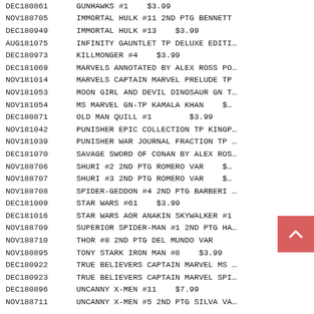| Code | Title |
| --- | --- |
| DEC180861 | GUNHAWKS #1    $3.99 |
| NOV188705 | IMMORTAL HULK #11 2ND PTG BENNETT |
| DEC180949 | IMMORTAL HULK #13    $3.99 |
| AUG181075 | INFINITY GAUNTLET TP DELUXE EDITI… |
| DEC180973 | KILLMONGER #4    $3.99 |
| DEC181069 | MARVELS ANNOTATED BY ALEX ROSS PO… |
| NOV181014 | MARVELS CAPTAIN MARVEL PRELUDE TP |
| NOV181053 | MOON GIRL AND DEVIL DINOSAUR GN T… |
| NOV181054 | MS MARVEL GN-TP KAMALA KHAN    $… |
| DEC180871 | OLD MAN QUILL #1    $3.99 |
| NOV181042 | PUNISHER EPIC COLLECTION TP KINGP… |
| NOV181039 | PUNISHER WAR JOURNAL FRACTION TP … |
| DEC181070 | SAVAGE SWORD OF CONAN BY ALEX ROS… |
| NOV188706 | SHURI #2 2ND PTG ROMERO VAR    $… |
| NOV188707 | SHURI #3 2ND PTG ROMERO VAR    $… |
| NOV188708 | SPIDER-GEDDON #4 2ND PTG BARBERI … |
| DEC181009 | STAR WARS #61    $3.99 |
| DEC181016 | STAR WARS AOR ANAKIN SKYWALKER #1 |
| NOV188709 | SUPERIOR SPIDER-MAN #1 2ND PTG HA… |
| NOV188710 | THOR #8 2ND PTG DEL MUNDO VAR |
| NOV180895 | TONY STARK IRON MAN #8    $3.99 |
| DEC180922 | TRUE BELIEVERS CAPTAIN MARVEL MS … |
| DEC180923 | TRUE BELIEVERS CAPTAIN MARVEL SPI… |
| DEC180896 | UNCANNY X-MEN #11    $7.99 |
| NOV188711 | UNCANNY X-MEN #5 2ND PTG SILVA VA… |